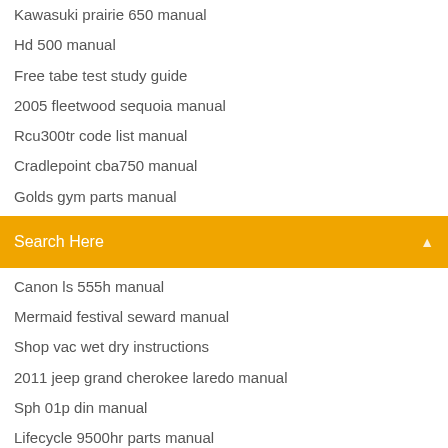Kawasuki prairie 650 manual
Hd 500 manual
Free tabe test study guide
2005 fleetwood sequoia manual
Rcu300tr code list manual
Cradlepoint cba750 manual
Golds gym parts manual
[Figure (screenshot): Orange search bar with text 'Search Here' and a search icon on the right]
Canon ls 555h manual
Mermaid festival seward manual
Shop vac wet dry instructions
2011 jeep grand cherokee laredo manual
Sph 01p din manual
Lifecycle 9500hr parts manual
Philips dvp 5992 manual
Dayton floor scrubber manual
Mio sport watch manual
Mass communication uf manual